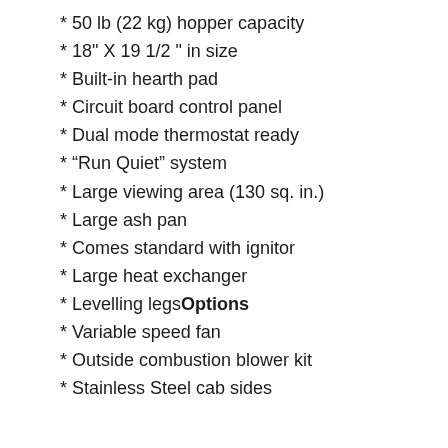* 50 lb (22 kg) hopper capacity
* 18" X 19 1/2 " in size
* Built-in hearth pad
* Circuit board control panel
* Dual mode thermostat ready
* “Run Quiet” system
* Large viewing area (130 sq. in.)
* Large ash pan
* Comes standard with ignitor
* Large heat exchanger
* Levelling legsOptions
* Variable speed fan
* Outside combustion blower kit
* Stainless Steel cab sides